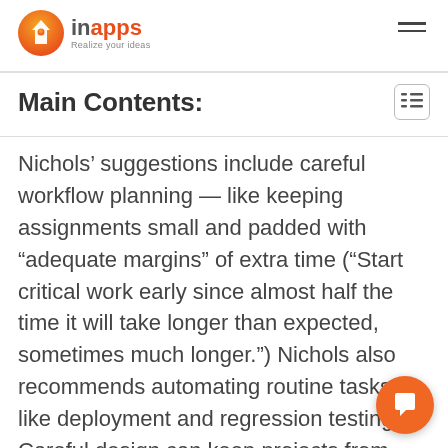inapps — Realize your ideas
Main Contents:
Nichols’ suggestions include careful workflow planning — like keeping assignments small and padded with “adequate margins” of extra time (“Start critical work early since almost half the time it will take longer than expected, sometimes much longer.”) Nichols also recommends automating routine tasks like deployment and regression testing. Careful design can keep projects from becoming too large and complex. (Nichols